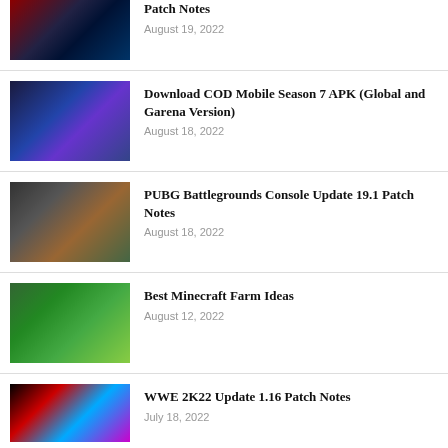[Figure (photo): Game screenshot with red/dark space theme]
Patch Notes
August 19, 2022
[Figure (photo): COD Mobile screenshot with purple/blue hues]
Download COD Mobile Season 7 APK (Global and Garena Version)
August 18, 2022
[Figure (photo): PUBG parachute aerial screenshot]
PUBG Battlegrounds Console Update 19.1 Patch Notes
August 18, 2022
[Figure (photo): Minecraft aerial farm screenshot with greenery]
Best Minecraft Farm Ideas
August 12, 2022
[Figure (photo): WWE 2K22 game cover with colorful wrestler]
WWE 2K22 Update 1.16 Patch Notes
July 18, 2022